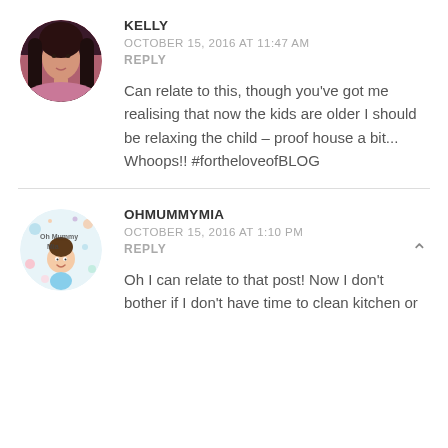[Figure (photo): Circular avatar photo of Kelly, a woman with long dark hair against a pink/dark background]
KELLY
OCTOBER 15, 2016 AT 11:47 AM
REPLY
Can relate to this, though you've got me realising that now the kids are older I should be relaxing the child – proof house a bit... Whoops!! #fortheloveofBLOG
[Figure (logo): Oh Mummy Mia circular logo with illustrated characters and pastel decorations]
OHMUMMYMIA
OCTOBER 15, 2016 AT 1:10 PM
REPLY
Oh I can relate to that post! Now I don't bother if I don't have time to clean kitchen or